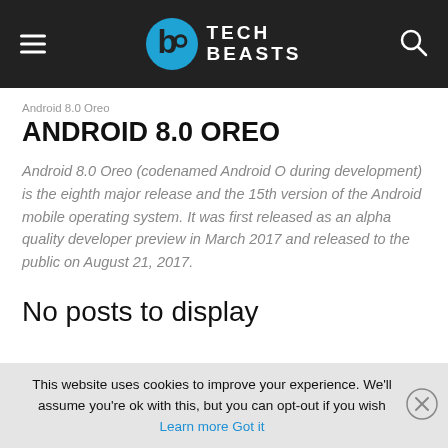Tech Beasts (logo header)
Android 8.0 Oreo
ANDROID 8.0 OREO
Android 8.0 Oreo (codenamed Android O during development) is the eighth major release and the 15th version of the Android mobile operating system. It was first released as an alpha quality developer preview in March 2017 and released to the public on August 21, 2017.
No posts to display
This website uses cookies to improve your experience. We'll assume you're ok with this, but you can opt-out if you wish Learn more Got it